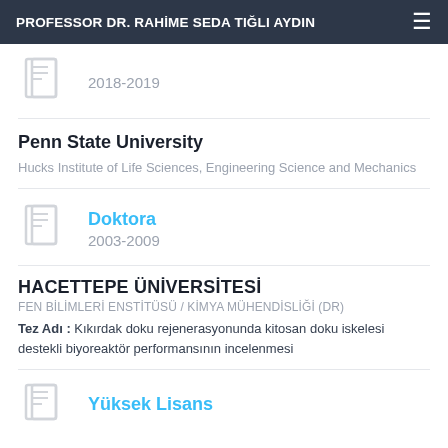PROFESSOR DR. RAHİME SEDA TIĞLI AYDIN
2018-2019
Penn State University
Hucks Institute of Life Sciences, Engineering Science and Mechanics
Doktora
2003-2009
HACETTEPE ÜNİVERSİTESİ
FEN BİLİMLERİ ENSTİTÜSÜ / KİMYA MÜHENDİSLİĞİ (DR)
Tez Adı : Kıkırdak doku rejenerasyonunda kitosan doku iskelesi destekli biyoreaktör performansının incelenmesi
Yüksek Lisans